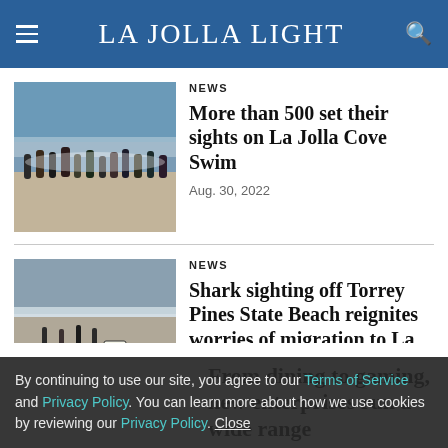La Jolla Light
[Figure (photo): People running into the ocean surf at a beach during a swim event]
NEWS
More than 500 set their sights on La Jolla Cove Swim
Aug. 30, 2022
[Figure (photo): Beach scene with people walking near warning signs, Torrey Pines State Beach]
NEWS
Shark sighting off Torrey Pines State Beach reignites worries of migration to La Jolla
Aug. 29, 2022
By continuing to use our site, you agree to our Terms of Service and Privacy Policy. You can learn more about how we use cookies by reviewing our Privacy Policy. Close
From dining to gaming, new enterprises run a wide range